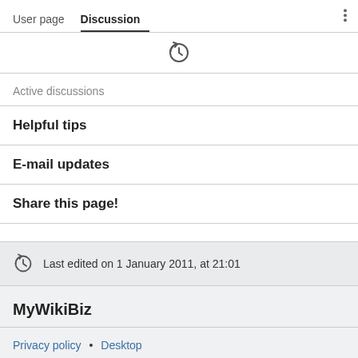User page  Discussion
Active discussions
Helpful tips
E-mail updates
Share this page!
Last edited on 1 January 2011, at 21:01
MyWikiBiz
Privacy policy • Desktop